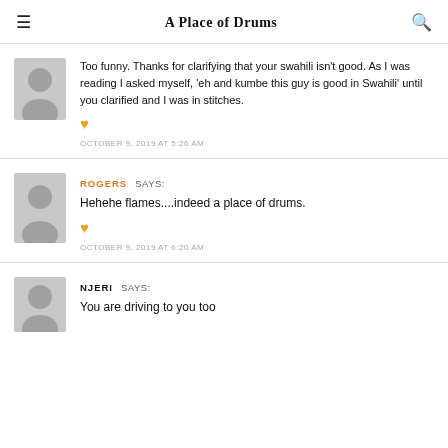A Place of Drums
Too funny. Thanks for clarifying that your swahili isn't good. As I was reading I asked myself, 'eh and kumbe this guy is good in Swahili' until you clarified and I was in stitches.
OCTOBER 9, 2019 AT 5:26 AM
ROGERS SAYS:
Hehehe flames....indeed a place of drums.
OCTOBER 9, 2019 AT 6:20 AM
NJERI SAYS:
You are driving to you too